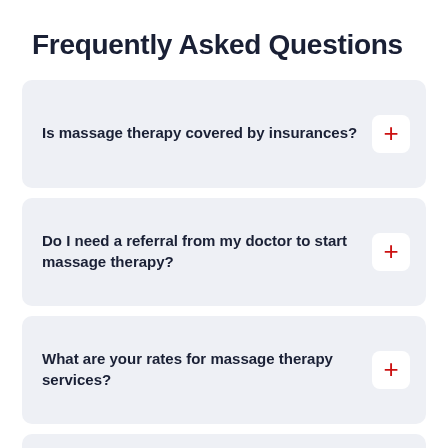Frequently Asked Questions
Is massage therapy covered by insurances?
Do I need a referral from my doctor to start massage therapy?
What are your rates for massage therapy services?
What do I wear to a massage therapy session?